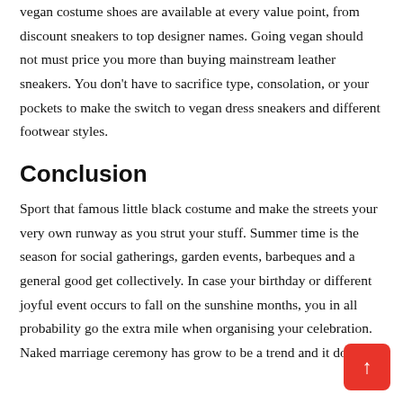vegan costume shoes are available at every value point, from discount sneakers to top designer names. Going vegan should not must price you more than buying mainstream leather sneakers. You don't have to sacrifice type, consolation, or your pockets to make the switch to vegan dress sneakers and different footwear styles.
Conclusion
Sport that famous little black costume and make the streets your very own runway as you strut your stuff. Summer time is the season for social gatherings, garden events, barbeques and a general good get collectively. In case your birthday or different joyful event occurs to fall on the sunshine months, you in all probability go the extra mile when organising your celebration. Naked marriage ceremony has grow to be a trend and it does